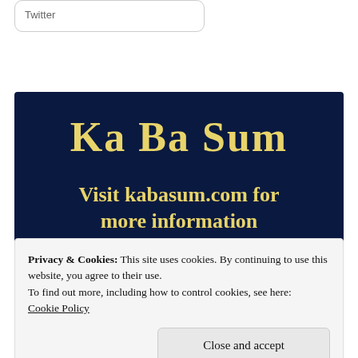Twitter
[Figure (logo): Ka Ba Sum logo in yellow decorative font on dark navy background]
Visit kabasum.com for more information
Privacy & Cookies: This site uses cookies. By continuing to use this website, you agree to their use.
To find out more, including how to control cookies, see here: Cookie Policy
Close and accept